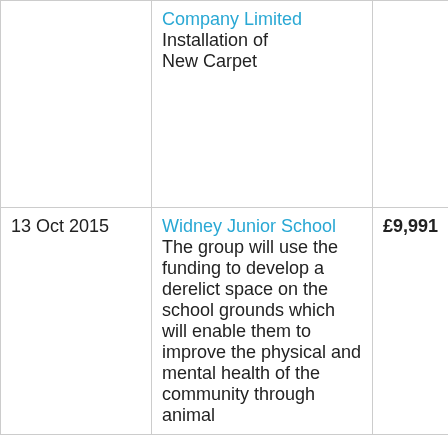| Date | Organisation / Description | Amount | Funder |
| --- | --- | --- | --- |
|  | Company Limited
Installation of New Carpet |  |  |
| 13 Oct 2015 | Widney Junior School
The group will use the funding to develop a derelict space on the school grounds which will enable them to improve the physical and mental health of the community through animal | £9,991 | Big Lottery Fund |